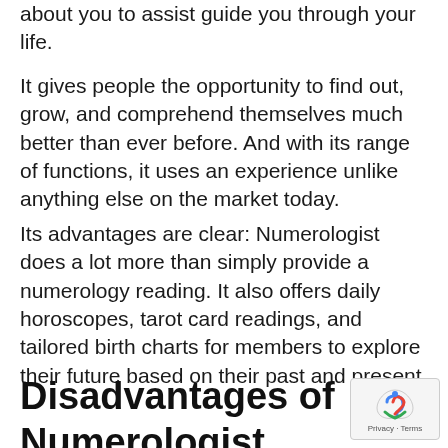about you to assist guide you through your life.
It gives people the opportunity to find out, grow, and comprehend themselves much better than ever before. And with its range of functions, it uses an experience unlike anything else on the market today.
Its advantages are clear: Numerologist does a lot more than simply provide a numerology reading. It also offers daily horoscopes, tarot card readings, and tailored birth charts for members to explore their future based on their past and present.
Disadvantages of Numerologist